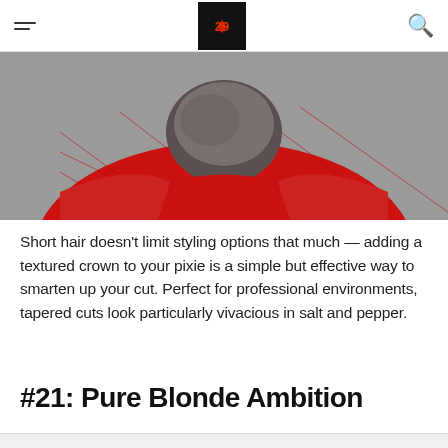[hamburger menu] [logo] [search icon]
[Figure (photo): Back view of a person with short salt-and-pepper hair wearing a red quilted jacket, photographed from behind against a gray background.]
Short hair doesn't limit styling options that much — adding a textured crown to your pixie is a simple but effective way to smarten up your cut. Perfect for professional environments, tapered cuts look particularly vivacious in salt and pepper.
#21: Pure Blonde Ambition